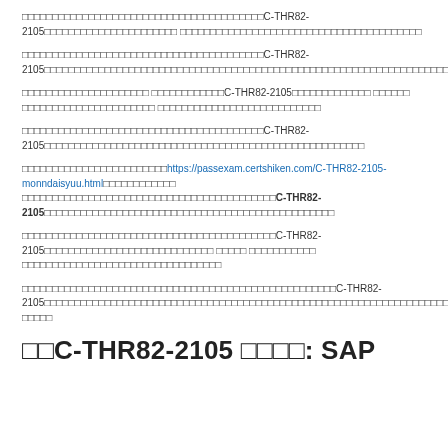…C-THR82-2105… … … …
…C-THR82-2105… … … …
… … …C-THR82-2105… … …
…C-THR82-2105… … … …
… https://passexam.certshiken.com/C-THR82-2105-monndaisyuu.html … C-THR82-2105 … …
…C-THR82-2105… … … …
…C-THR82-2105… … … …
□□C-THR82-2105 □□□□: SAP